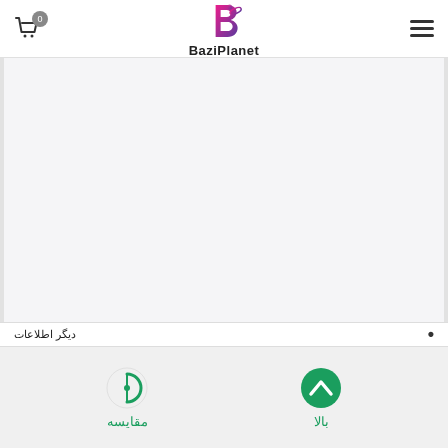[Figure (logo): BaziPlanet website header with cart icon (badge 0), BaziPlanet logo (stylized B with planet and character graphic) and hamburger menu icon]
[Figure (other): Large light grey content/image area below the header — product image area, appears blank/loading]
دیگر اطلاعات
[Figure (other): Footer navigation bar with two buttons: 'بالا' (up arrow icon in green) on the right and 'مقایسه' (half-circle icon in green) on the left]